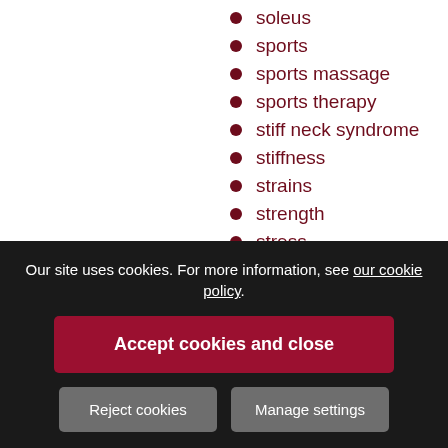soleus
sports
sports massage
sports therapy
stiff neck syndrome
stiffness
strains
strength
stress
stretching
swimming
tendinopathy
tennis elbow
therapists
tightness
treatment
Our site uses cookies. For more information, see our cookie policy.
Accept cookies and close
Reject cookies
Manage settings